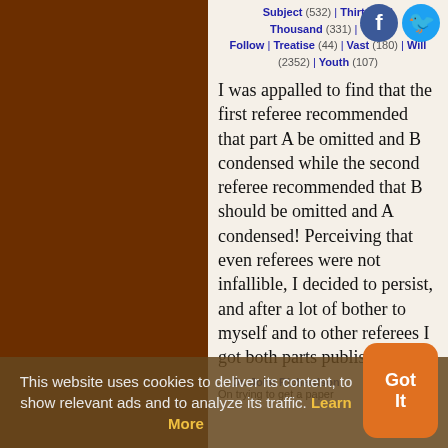Subject (532) | Thirty (6) | Thousand (331) | Total (2352) | Follow | Treatise (44) | Vast (180) | Will | Youth (107)
I was appalled to find that the first referee recommended that part A be omitted and B condensed while the second referee recommended that B should be omitted and A condensed! Perceiving that even referees were not infallible, I decided to persist, and after a lot of bother to myself and to other referees I got both parts published.
— Dr. John Richardson, On trying to get a paper published.
This website uses cookies to deliver its content, to show relevant ads and to analyze its traffic. Learn More